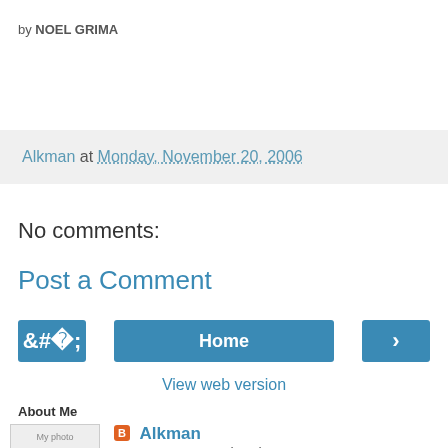by NOEL GRIMA
Alkman at Monday, November 20, 2006
No comments:
Post a Comment
‹
Home
›
View web version
About Me
[Figure (photo): My photo thumbnail]
Alkman
From West to South, Athens, Greece